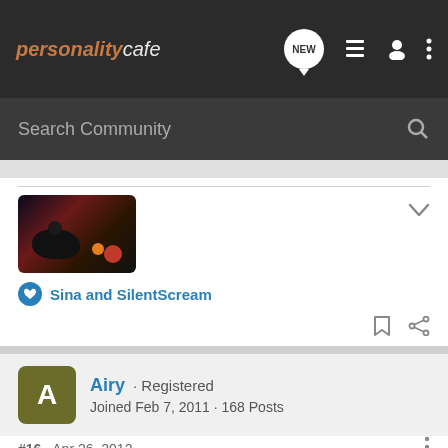personality cafe - NEW
Search Community
[Figure (photo): Dark image of a rat with colored fruits/vegetables, appears to be from an animated movie]
Sina and SilentScream
Airy · Registered
Joined Feb 7, 2011 · 168 Posts
#16 · Apr 26, 2012
@Jawz I thanked your post, did I help you feel successful? :tongue: It was a genuine thanks though, very insightful and honest post =)